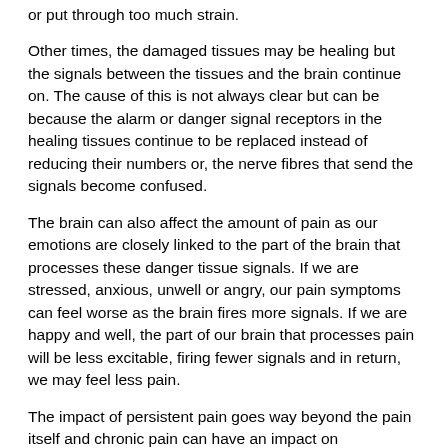or put through too much strain.
Other times, the damaged tissues may be healing but the signals between the tissues and the brain continue on. The cause of this is not always clear but can be because the alarm or danger signal receptors in the healing tissues continue to be replaced instead of reducing their numbers or, the nerve fibres that send the signals become confused.
The brain can also affect the amount of pain as our emotions are closely linked to the part of the brain that processes these danger tissue signals. If we are stressed, anxious, unwell or angry, our pain symptoms can feel worse as the brain fires more signals. If we are happy and well, the part of our brain that processes pain will be less excitable, firing fewer signals and in return, we may feel less pain.
The impact of persistent pain goes way beyond the pain itself and chronic pain can have an impact on relationships, finances, mental health, sleep and work.  Being in pain constantly is exhausting and wears you down - beginning to understand the science of persistent pain is the first step in taking back your life.  The complex nature of chronic pain requires a multidisciplinary approach often involving your doctor, specialist, physio, psychologist and exercise physiologist.  Finding your team of